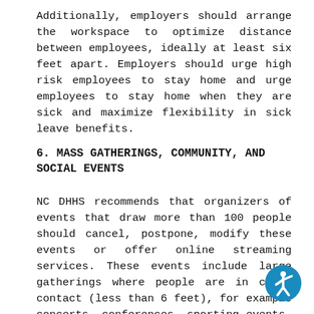Additionally, employers should arrange the workspace to optimize distance between employees, ideally at least six feet apart. Employers should urge high risk employees to stay home and urge employees to stay home when they are sick and maximize flexibility in sick leave benefits.
6. MASS GATHERINGS, COMMUNITY, AND SOCIAL EVENTS
NC DHHS recommends that organizers of events that draw more than 100 people should cancel, postpone, modify these events or offer online streaming services. These events include large gatherings where people are in close contact (less than 6 feet), for example concerts, conferences, sporting events, faith-based events and other large gatherings.
[Figure (illustration): Accessibility icon: blue circle with white stylized human figure in a dynamic pose, representing accessibility.]